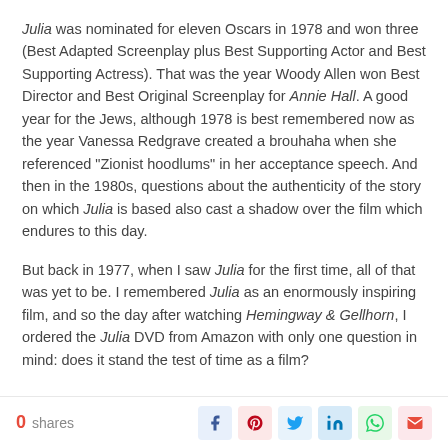Julia was nominated for eleven Oscars in 1978 and won three (Best Adapted Screenplay plus Best Supporting Actor and Best Supporting Actress). That was the year Woody Allen won Best Director and Best Original Screenplay for Annie Hall. A good year for the Jews, although 1978 is best remembered now as the year Vanessa Redgrave created a brouhaha when she referenced “Zionist hoodlums” in her acceptance speech. And then in the 1980s, questions about the authenticity of the story on which Julia is based also cast a shadow over the film which endures to this day.
But back in 1977, when I saw Julia for the first time, all of that was yet to be. I remembered Julia as an enormously inspiring film, and so the day after watching Hemingway & Gellhorn, I ordered the Julia DVD from Amazon with only one question in mind: does it stand the test of time as a film?
0 shares